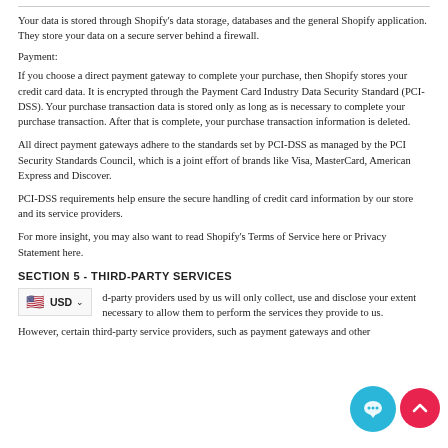Your data is stored through Shopify's data storage, databases and the general Shopify application. They store your data on a secure server behind a firewall.
Payment:
If you choose a direct payment gateway to complete your purchase, then Shopify stores your credit card data. It is encrypted through the Payment Card Industry Data Security Standard (PCI-DSS). Your purchase transaction data is stored only as long as is necessary to complete your purchase transaction. After that is complete, your purchase transaction information is deleted.
All direct payment gateways adhere to the standards set by PCI-DSS as managed by the PCI Security Standards Council, which is a joint effort of brands like Visa, MasterCard, American Express and Discover.
PCI-DSS requirements help ensure the secure handling of credit card information by our store and its service providers.
For more insight, you may also want to read Shopify's Terms of Service here or Privacy Statement here.
SECTION 5 - THIRD-PARTY SERVICES
d-party providers used by us will only collect, use and disclose your extent necessary to allow them to perform the services they provide to us.
However, certain third-party service providers, such as payment gateways and other